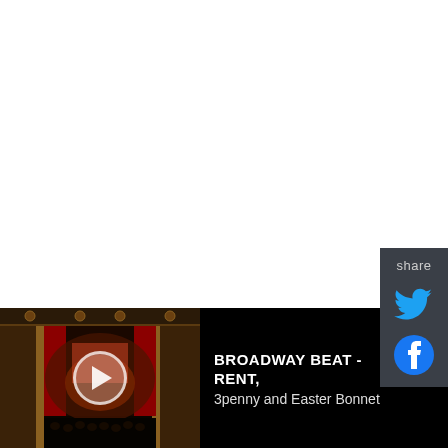[Figure (other): Share sidebar panel with Twitter and Facebook icons on dark background]
In related programing, the Santa Barbara Symphony will kick off opening weekend with the Symphony Ball from 5:30 pm to midnight on Friday, October 19, at the Hilton Santa Barbara Beachfront Resort. Chaired
[Figure (screenshot): Video player overlay at bottom of page showing a theater interior with red curtains and audience, with play button. Title reads BROADWAY BEAT - RENT, 3penny and Easter Bonnet]